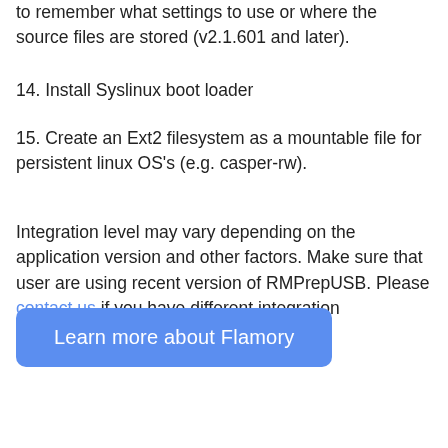to remember what settings to use or where the source files are stored (v2.1.601 and later).
14. Install Syslinux boot loader
15. Create an Ext2 filesystem as a mountable file for persistent linux OS's (e.g. casper-rw).
Integration level may vary depending on the application version and other factors. Make sure that user are using recent version of RMPrepUSB. Please contact us if you have different integration experience.
Learn more about Flamory